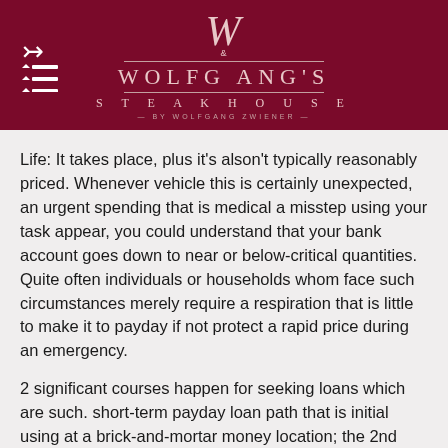[Figure (logo): Wolfgang's Steakhouse logo with large W lettermark and full restaurant name on dark red background, with hamburger menu icon on the left]
Life: It takes place, plus it's alson't typically reasonably priced. Whenever vehicle this is certainly unexpected, an urgent spending that is medical a misstep using your task appear, you could understand that your bank account goes down to near or below-critical quantities. Quite often individuals or households whom face such circumstances merely require a respiration that is little to make it to payday if not protect a rapid price during an emergency.
2 significant courses happen for seeking loans which are such. short-term payday loan path that is initial using at a brick-and-mortar money location; the 2nd explanation is making usage of on line. Utilizing face-to-face generally seems to provide some benefits, many individuals discover